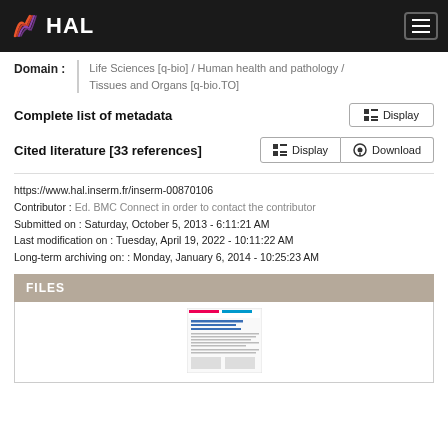HAL
Domain :
Life Sciences [q-bio] / Human health and pathology / Tissues and Organs [q-bio.TO]
Complete list of metadata
Cited literature [33 references]
https://www.hal.inserm.fr/inserm-00870106
Contributor : Ed. BMC Connect in order to contact the contributor
Submitted on : Saturday, October 5, 2013 - 6:11:21 AM
Last modification on : Tuesday, April 19, 2022 - 10:11:22 AM
Long-term archiving on: : Monday, January 6, 2014 - 10:25:23 AM
FILES
[Figure (screenshot): Thumbnail of a document/paper page]